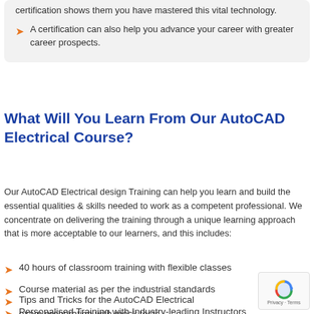certification shows them you have mastered this vital technology.
A certification can also help you advance your career with greater career prospects.
What Will You Learn From Our AutoCAD Electrical Course?
Our AutoCAD Electrical design Training can help you learn and build the essential qualities & skills needed to work as a competent professional. We concentrate on delivering the training through a unique learning approach that is more acceptable to our learners, and this includes:
40 hours of classroom training with flexible classes
Course material as per the industrial standards
Tips and Tricks for the AutoCAD Electrical exam preparation with mock tests
Personalised Training with Industry-leading Instructors